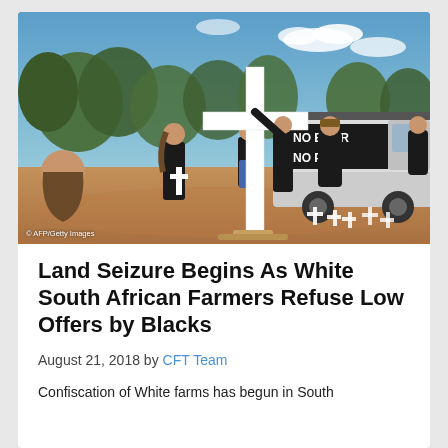[Figure (photo): People in black clothing erecting a large white cross outdoors, with a truck bearing text 'NO BOER NO PAP' visible in the background. Other white crosses are scattered on the ground. Trees and blue sky in background.]
© AFP/Getty Images
Land Seizure Begins As White South African Farmers Refuse Low Offers by Blacks
August 21, 2018 by CFT Team
Confiscation of White farms has begun in South